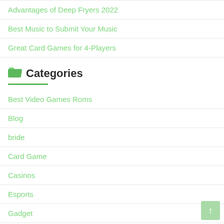Advantages of Deep Fryers 2022
Best Music to Submit Your Music
Great Card Games for 4-Players
Categories
Best Video Games Roms
Blog
bride
Card Game
Casinos
Esports
Gadget
Health